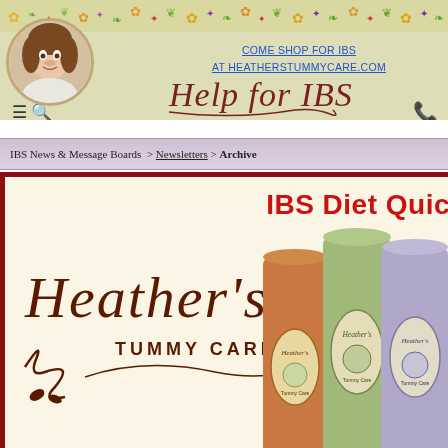[Figure (illustration): Floral decorative border across top of page with colorful flowers and leaves]
[Figure (photo): Circular portrait photo of a woman with curly hair]
COME SHOP FOR IBS AT HEATHERSTUMMYCARE.COM
[Figure (logo): Help for IBS decorative script logo]
IBS News & Message Boards > Newsletters > Archive
IBS Diet Quic
[Figure (logo): Heather's Tummy Care script logo with decorative swirls]
[Figure (photo): Product cans/tins of Heather's Tummy Care supplements]